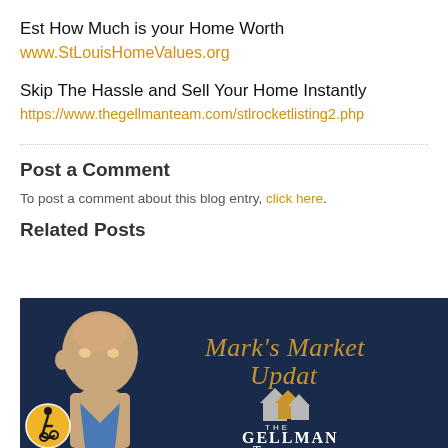Est How Much is your Home Worth
www.StLouisHomeValues.org
Skip The Hassle and Sell Your Home Instantly
https://www.thegellmanteam.com/stlrocketlisting2.php
Post a Comment
To post a comment about this blog entry, click here.
Related Posts
[Figure (photo): Dark navy banner image with a bald man on the left side and gold script text reading Mark's Market Update, with The Gellman Team logo at the bottom center]